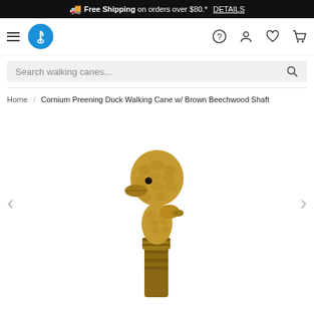🚚 Free Shipping on orders over $80.* DETAILS
[Figure (logo): Walking cane store logo - blue circle with white cane icon]
Search walking canes...
Home / Cornium Preening Duck Walking Cane w/ Brown Beechwood Shaft
[Figure (photo): Close-up photo of a Cornium Preening Duck walking cane handle showing a duck head sculpture in antique brown/gold color with detailed feather texture and a dark eye]